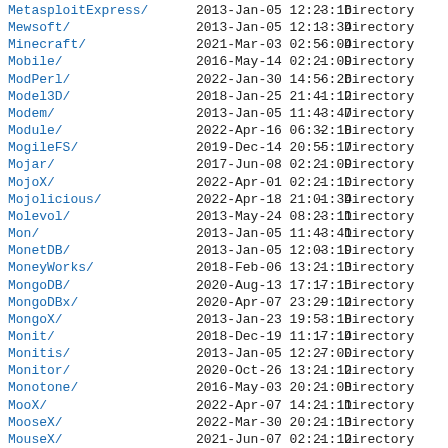| Name | Date | Size | Type |
| --- | --- | --- | --- |
| MetasploitExpress/ | 2013-Jan-05 12:23:16 | - | Directory |
| Mewsoft/ | 2013-Jan-05 12:13:34 | - | Directory |
| Minecraft/ | 2021-Mar-03 02:56:04 | - | Directory |
| Mobile/ | 2016-May-14 02:21:09 | - | Directory |
| ModPerl/ | 2022-Jan-30 14:56:26 | - | Directory |
| Model3D/ | 2018-Jan-25 21:41:12 | - | Directory |
| Modem/ | 2013-Jan-05 11:43:47 | - | Directory |
| Module/ | 2022-Apr-16 06:32:18 | - | Directory |
| MogileFS/ | 2019-Dec-14 20:55:17 | - | Directory |
| Mojar/ | 2017-Jun-08 02:21:09 | - | Directory |
| MojoX/ | 2022-Apr-01 02:21:10 | - | Directory |
| Mojolicious/ | 2022-Apr-18 21:01:34 | - | Directory |
| Molevol/ | 2013-May-24 08:23:11 | - | Directory |
| Mon/ | 2013-Jan-05 11:43:41 | - | Directory |
| MonetDB/ | 2013-Jan-05 12:03:19 | - | Directory |
| MoneyWorks/ | 2018-Feb-06 13:21:13 | - | Directory |
| MongoDB/ | 2020-Aug-13 17:17:15 | - | Directory |
| MongoDBx/ | 2020-Apr-07 23:29:12 | - | Directory |
| MongoX/ | 2013-Jan-23 19:53:18 | - | Directory |
| Monit/ | 2018-Dec-19 11:17:14 | - | Directory |
| Monitis/ | 2013-Jan-05 12:27:00 | - | Directory |
| Monitor/ | 2020-Oct-26 13:21:12 | - | Directory |
| Monotone/ | 2016-May-03 20:21:08 | - | Directory |
| MooX/ | 2022-Apr-07 14:21:11 | - | Directory |
| MooseX/ | 2022-Mar-30 20:21:13 | - | Directory |
| MouseX/ | 2021-Jun-07 02:21:12 | - | Directory |
| Mozilla/ | 2022-Apr-07 14:21:10 | - | Directory |
| Msql/ | 2013-Jan-05 11:42:17 | - | Directory |
| Muck/ | 2013-Jan-05 12:07:21 | - | Directory |
| Muldis/ | 2017-Nov-03 07:21:09 | - | Directory |
| Music/ | 2022-Apr-06 20:21:13 | - | Directory |
| MusicBrainz/ | 2019-Oct-11 02:21:11 | - | Directory |